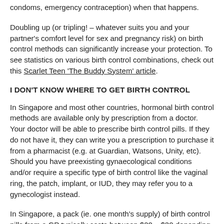condoms, emergency contraception) when that happens.
Doubling up (or tripling! – whatever suits you and your partner's comfort level for sex and pregnancy risk) on birth control methods can significantly increase your protection. To see statistics on various birth control combinations, check out this Scarlet Teen 'The Buddy System' article.
I DON'T KNOW WHERE TO GET BIRTH CONTROL
In Singapore and most other countries, hormonal birth control methods are available only by prescription from a doctor. Your doctor will be able to prescribe birth control pills. If they do not have it, they can write you a prescription to purchase it from a pharmacist (e.g. at Guardian, Watsons, Unity, etc). Should you have preexisting gynaecological conditions and/or require a specific type of birth control like the vaginal ring, the patch, implant, or IUD, they may refer you to a gynecologist instead.
In Singapore, a pack (ie. one month's supply) of birth control pills from a GP typically costs between $20 – $30 depending on doctor and brand. Some common brands in Singapore include Yasmin, Yaz, and Diane-35.